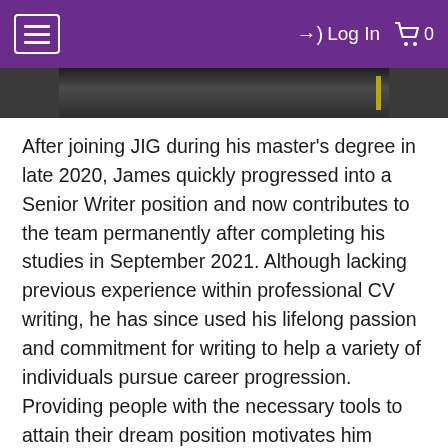≡  →] Log In  🛒 0
[Figure (photo): Partial photo strip of a person, dark background with a yellow/green vertical stripe on the right side]
After joining JIG during his master's degree in late 2020, James quickly progressed into a Senior Writer position and now contributes to the team permanently after completing his studies in September 2021. Although lacking previous experience within professional CV writing, he has since used his lifelong passion and commitment for writing to help a variety of individuals pursue career progression. Providing people with the necessary tools to attain their dream position motivates him continually. Outside of work, James spends his time exercising and can be found consuming all content concerning Liverpool Football Club. He is also an enthusiast of the great Bruce Lee and studied his lasting political influence as part of his MA Politics degree. He also writes mixed martial arts content for pleasure, enjoys watching real-life crime documentaries